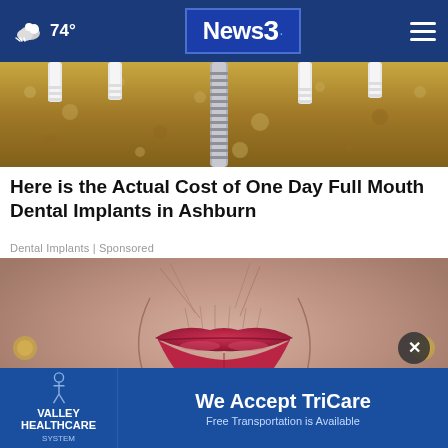74° News3. ☰
[Figure (illustration): Cross-section illustration of dental implants in jawbone, showing screw implants inserted into bone tissue with tooth crowns above]
Here is the Actual Cost of One Day Full Mouth Dental Implants in Ashburn
Dental Implants | Sponsored
[Figure (photo): Close-up photo of an elderly woman's lower face showing lips with red lipstick and wrinkled skin around the mouth area]
[Figure (logo): Valley Healthcare System logo with text 'We Accept TriCare' and 'Free Transportation is Available' advertisement banner]